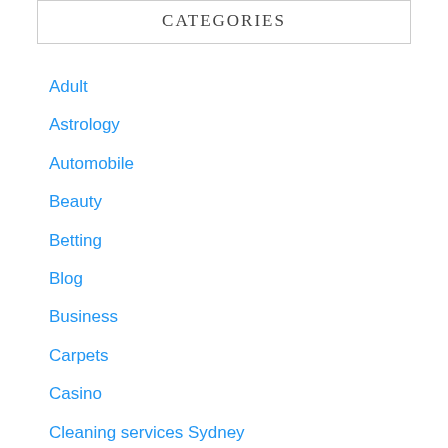CATEGORIES
Adult
Astrology
Automobile
Beauty
Betting
Blog
Business
Carpets
Casino
Cleaning services Sydney
Dating
Education
Entertainment